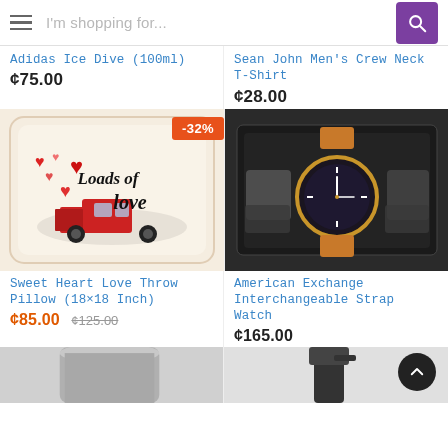I'm shopping for...
Adidas Ice Dive (100ml)
¢75.00
Sean John Men's Crew Neck T-Shirt
¢28.00
[Figure (photo): Sweet Heart Love Throw Pillow with red truck and hearts, -32% discount badge]
[Figure (photo): American Exchange Interchangeable Strap Watch in black gift box]
Sweet Heart Love Throw Pillow (18×18 Inch)
¢85.00  ¢125.00
American Exchange Interchangeable Strap Watch
¢165.00
[Figure (photo): Partial bottom product image (left)]
[Figure (photo): Partial bottom product image (right)]